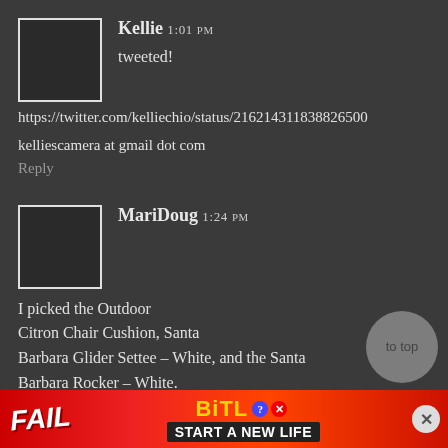[Figure (illustration): Avatar placeholder box for user Kellie, white-bordered square on dark background]
Kellie 1:01 PM
tweeted!
https://twitter.com/kelliechio/status/216214311838826500
kelliescamera at gmail dot com
Reply
[Figure (illustration): Avatar placeholder box for user MariDoug, white-bordered square on dark background]
MariDoug 1:24 PM
I picked the Outdoor Citron Chair Cushion, Santa Barbara Glider Settee – White, and the Santa Barbara Rocker – White.
[Figure (illustration): Advertisement banner for BitLife game — FAIL image with cartoon and BitLife START A NEW LIFE text]